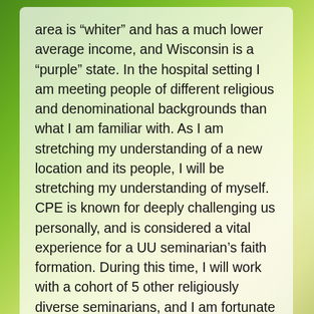area is “whiter” and has a much lower average income, and Wisconsin is a “purple” state. In the hospital setting I am meeting people of different religious and denominational backgrounds than what I am familiar with. As I am stretching my understanding of a new location and its people, I will be stretching my understanding of myself. CPE is known for deeply challenging us personally, and is considered a vital experience for a UU seminarian’s faith formation. During this time, I will work with a cohort of 5 other religiously diverse seminarians, and I am fortunate to have Chaplain Tracey Wilkinson, a UU, as my supervisor, a rare and enjoyable experience indeed. Still, this will be an intense 3 months – they do call this an “Intensive” after all.